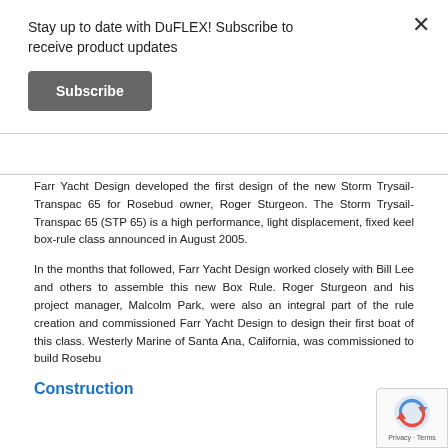Stay up to date with DuFLEX! Subscribe to receive product updates
Subscribe
Farr Yacht Design developed the first design of the new Storm Trysail-Transpac 65 for Rosebud owner, Roger Sturgeon. The Storm Trysail-Transpac 65 (STP 65) is a high performance, light displacement, fixed keel box-rule class announced in August 2005.
In the months that followed, Farr Yacht Design worked closely with Bill Lee and others to assemble this new Box Rule. Roger Sturgeon and his project manager, Malcolm Park, were also an integral part of the rule creation and commissioned Farr Yacht Design to design their first boat of this class. Westerly Marine of Santa Ana, California, was commissioned to build Rosebu
Construction